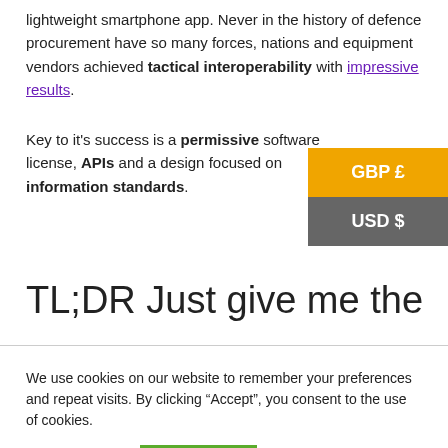lightweight smartphone app. Never in the history of defence procurement have so many forces, nations and equipment vendors achieved tactical interoperability with impressive results.
Key to it's success is a permissive software license, APIs and a design focused on information standards.
TL;DR Just give me the
We use cookies on our website to remember your preferences and repeat visits. By clicking “Accept”, you consent to the use of cookies.
Cookie settings  ACCEPT